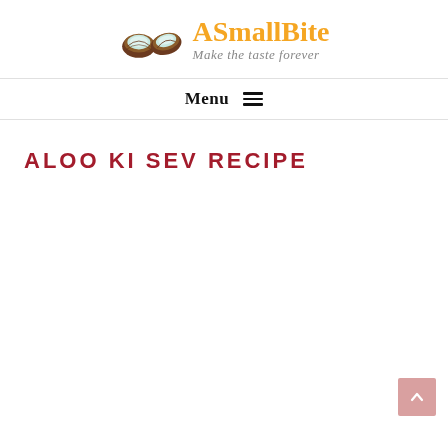[Figure (logo): ASmallBite logo with two coconut halves illustration and text 'ASmallBite / Make the taste forever']
Menu ≡
ALOO KI SEV RECIPE